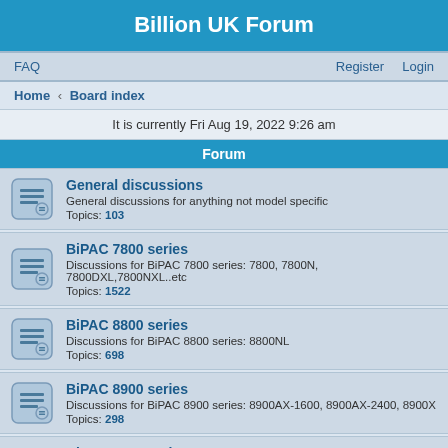Billion UK Forum
FAQ  Register  Login
Home › Board index
It is currently Fri Aug 19, 2022 9:26 am
Forum
General discussions
General discussions for anything not model specific
Topics: 103
BiPAC 7800 series
Discussions for BiPAC 7800 series: 7800, 7800N, 7800DXL,7800NXL..etc
Topics: 1522
BiPAC 8800 series
Discussions for BiPAC 8800 series: 8800NL
Topics: 698
BiPAC 8900 series
Discussions for BiPAC 8900 series: 8900AX-1600, 8900AX-2400, 8900X
Topics: 298
BiPAC 7402 series
Discussion for BiPAC 7402 series: 7402, 7402G, 7402X, 7402GX, 7402NX..etc
Topics: 54